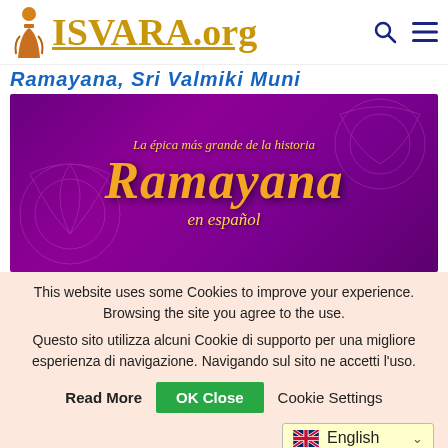[Figure (logo): ISVARA.org website logo with monk figure and gold serif text, search and menu icons]
Ramayana, Sri Valmiki Muni
[Figure (illustration): Purple decorative banner with gold text reading 'La épica más grande de la historia Ramayana en español' with floral mandala patterns]
This website uses some Cookies to improve your experience. Browsing the site you agree to the use.
Questo sito utilizza alcuni Cookie di supporto per una migliore esperienza di navigazione. Navigando sul sito ne accetti l'uso.
Read More   OK Close   Cookie Settings
English